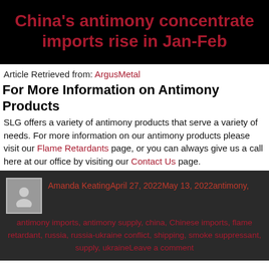China's antimony concentrate imports rise in Jan-Feb
Article Retrieved from: ArgusMetal
For More Information on Antimony Products
SLG offers a variety of antimony products that serve a variety of needs. For more information on our antimony products please visit our Flame Retardants page, or you can always give us a call here at our office by visiting our Contact Us page.
Amanda KeatingApril 27, 2022May 13, 2022antimony, antimony imports, antimony supply, china, Chinese imports, flame retardant, russia, russia-ukraine conflict, shipping, smoke suppressant, supply, ukraineLeave a comment